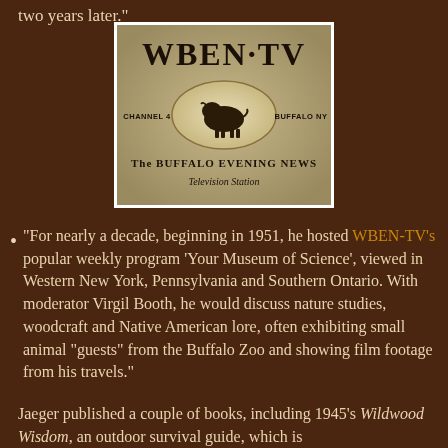two years later."
[Figure (logo): WBEN-TV Channel 4 Buffalo NY logo — The Buffalo Evening News Television Station, with a bison in an oval in the center]
"For nearly a decade, beginning in 1951, he hosted WBEN-TV's popular weekly program 'Your Museum of Science', viewed in Western New York, Pennsylvania and Southern Ontario. With moderator Virgil Booth, he would discuss nature studies, woodcraft and Native American lore, often exhibiting small animal "guests" from the Buffalo Zoo and showing film footage from his travels."
Jaeger published a couple of books, including 1945's Wildwood Wisdom, an outdoor survival guide, which is